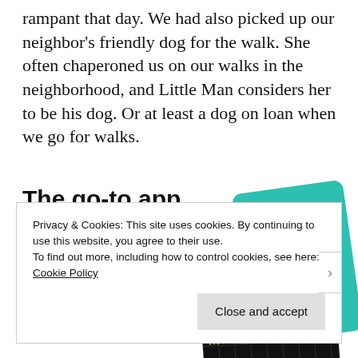rampant that day.  We had also picked up our neighbor's friendly dog for the walk.  She often chaperoned us on our walks in the neighborhood, and Little Man considers her to be his dog.  Or at least a dog on loan when we go for walks.
[Figure (infographic): Pocket Casts podcast app advertisement. Bold black text reads 'The go-to app for podcast lovers.' with a red 'Download now' link. On the right side are overlapping app card images including a black card with a yellow square and '99% INVISIBLE' text, a teal card with 'what' and 'On' text, and a blue card with a red accent.]
Privacy & Cookies: This site uses cookies. By continuing to use this website, you agree to their use.
To find out more, including how to control cookies, see here: Cookie Policy
Close and accept